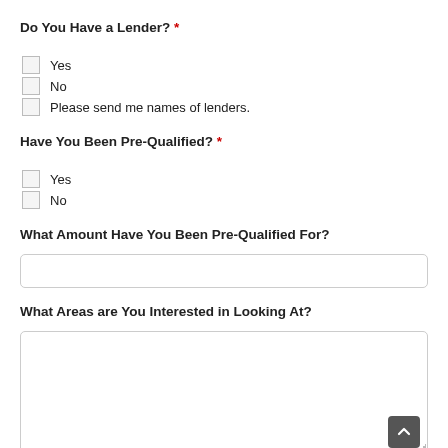Do You Have a Lender? *
Yes
No
Please send me names of lenders.
Have You Been Pre-Qualified? *
Yes
No
What Amount Have You Been Pre-Qualified For?
[text input field]
What Areas are You Interested in Looking At?
[textarea input field]